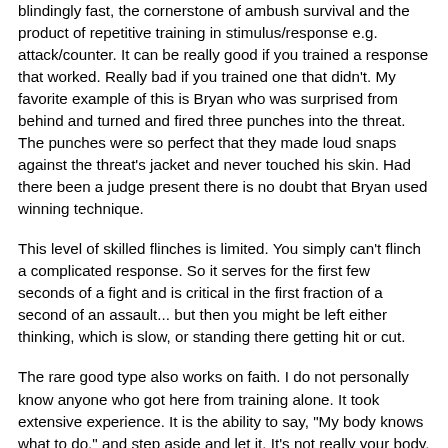blindingly fast, the cornerstone of ambush survival and the product of repetitive training in stimulus/response e.g. attack/counter. It can be really good if you trained a response that worked. Really bad if you trained one that didn't. My favorite example of this is Bryan who was surprised from behind and turned and fired three punches into the threat. The punches were so perfect that they made loud snaps against the threat's jacket and never touched his skin. Had there been a judge present there is no doubt that Bryan used winning technique.
This level of skilled flinches is limited. You simply can't flinch a complicated response. So it serves for the first few seconds of a fight and is critical in the first fraction of a second of an assault... but then you might be left either thinking, which is slow, or standing there getting hit or cut.
The rare good type also works on faith. I do not personally know anyone who got here from training alone. It took extensive experience. It is the ability to say, "My body knows what to do," and step aside and let it. It's not really your body, it's still your brain, but it is getting your conscious mind out of the way and trusting that everything will be okay...